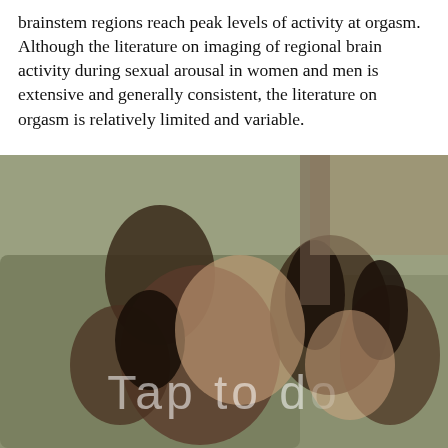brainstem regions reach peak levels of activity at orgasm. Although the literature on imaging of regional brain activity during sexual arousal in women and men is extensive and generally consistent, the literature on orgasm is relatively limited and variable.
[Figure (photo): A photograph with a watermark overlay reading 'Tap to d[ownload]'. The image appears to show human figures. The watermark text is partially cut off at the right edge.]